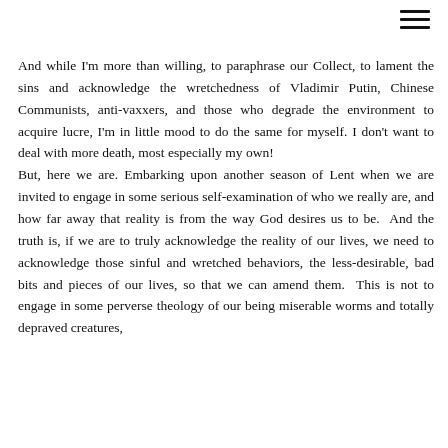And while I'm more than willing, to paraphrase our Collect, to lament the sins and acknowledge the wretchedness of Vladimir Putin, Chinese Communists, anti-vaxxers, and those who degrade the environment to acquire lucre, I'm in little mood to do the same for myself. I don't want to deal with more death, most especially my own! But, here we are. Embarking upon another season of Lent when we are invited to engage in some serious self-examination of who we really are, and how far away that reality is from the way God desires us to be. And the truth is, if we are to truly acknowledge the reality of our lives, we need to acknowledge those sinful and wretched behaviors, the less-desirable, bad bits and pieces of our lives, so that we can amend them. This is not to engage in some perverse theology of our being miserable worms and totally depraved creatures,